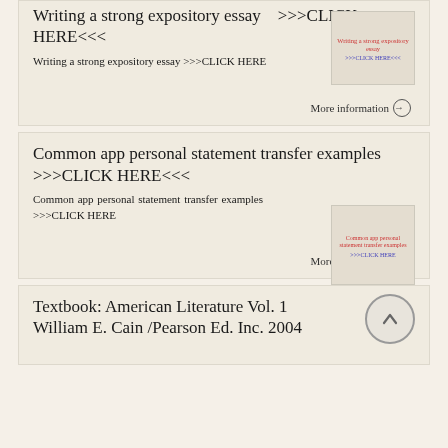Writing a strong expository essay >>>CLICK HERE<<<
Writing a strong expository essay >>>CLICK HERE
More information →
Common app personal statement transfer examples >>>CLICK HERE<<<
Common app personal statement transfer examples >>>CLICK HERE
More information →
Textbook: American Literature Vol. 1 William E. Cain /Pearson Ed. Inc. 2004